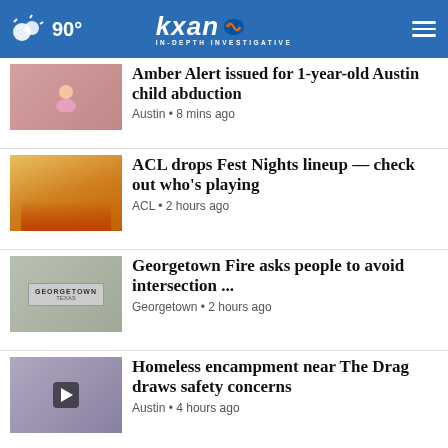90° kxan IN-DEPTH INVESTIGATIVE
Amber Alert issued for 1-year-old Austin child abduction
Austin • 8 mins ago
ACL drops Fest Nights lineup — check out who's playing
ACL • 2 hours ago
Georgetown Fire asks people to avoid intersection ...
Georgetown • 2 hours ago
Homeless encampment near The Drag draws safety concerns
Austin • 4 hours ago
School traffic impacts Austin roads as levels reach ...
Austin • 5 hours ago
[Figure (screenshot): Advertisement banner: Summer the Superior Way - Buy Now]
SUMMER THE SUPERIOR WAY Buy Now